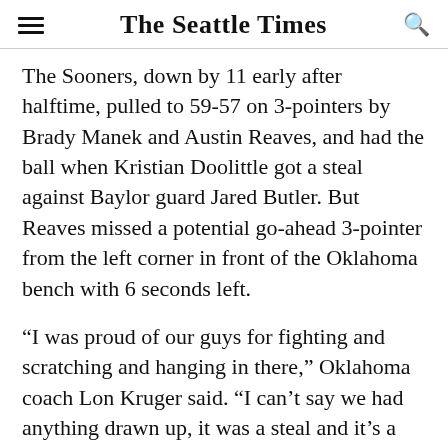The Seattle Times
The Sooners, down by 11 early after halftime, pulled to 59-57 on 3-pointers by Brady Manek and Austin Reaves, and had the ball when Kristian Doolittle got a steal against Baylor guard Jared Butler. But Reaves missed a potential go-ahead 3-pointer from the left corner in front of the Oklahoma bench with 6 seconds left.
“I was proud of our guys for fighting and scratching and hanging in there,” Oklahoma coach Lon Kruger said. “I can’t say we had anything drawn up, it was a steal and it’s a break.”
ADVERTISING
[Figure (photo): Advertisement image placeholder with muted grayish-brown tones]